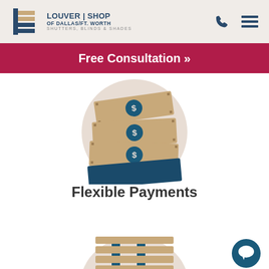[Figure (logo): Louver Shop of Dallas/Ft. Worth logo with shutters/blinds icon, company name and tagline 'Shutters, Blinds & Shades']
[Figure (infographic): Phone icon and hamburger menu icon in the header navigation area]
Free Consultation »
[Figure (illustration): Stack of money bills illustration with dollar sign coins on a beige circular background]
Flexible Payments
[Figure (illustration): Chat bubble icon (teal circle with speech bubble)]
[Figure (illustration): Partial view of a window blind/shutter illustration at the bottom of the page]